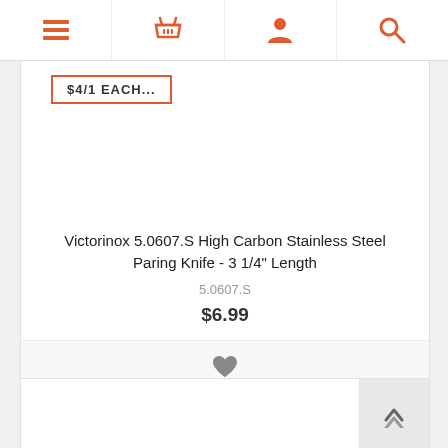[Figure (screenshot): E-commerce website navigation bar with hamburger menu, shopping basket, user profile, and search icons in orange]
[Figure (screenshot): Partially visible product image with orange-bordered sale badge showing price text]
Victorinox 5.0607.S High Carbon Stainless Steel Paring Knife - 3 1/4" Length
5.0607.S
$6.99
[Figure (screenshot): Gray heart/wishlist icon]
BUY
[Figure (screenshot): Second product card partially visible at bottom, with back-to-top arrow button in bottom right]